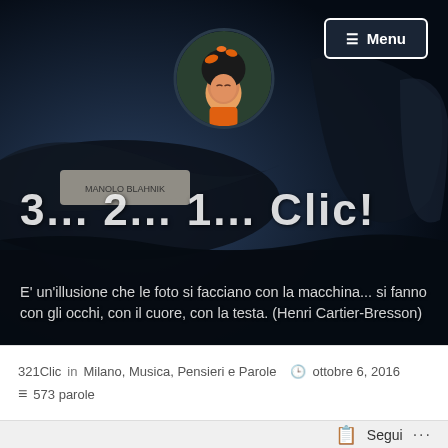[Figure (screenshot): Website header/hero image of a blog called '3... 2... 1... Clic!' showing dark blue-toned photo of high heel shoes, with a circular avatar of an illustrated girl with fish in her hair, a Menu button in top right, large title text '3... 2... 1... Clic!' and an Italian quote about photography by Henri Cartier-Bresson]
321Clic in Milano, Musica, Pensieri e Parole    ottobre 6, 2016
573 parole
Segui   ...